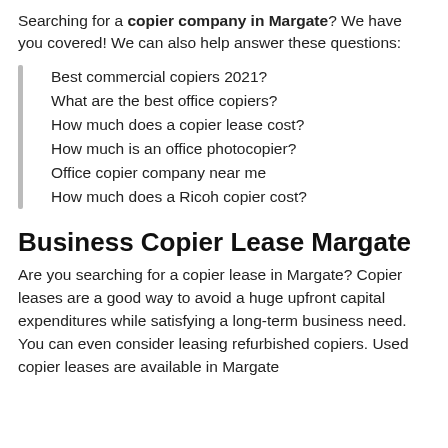Searching for a copier company in Margate? We have you covered! We can also help answer these questions:
Best commercial copiers 2021?
What are the best office copiers?
How much does a copier lease cost?
How much is an office photocopier?
Office copier company near me
How much does a Ricoh copier cost?
Business Copier Lease Margate
Are you searching for a copier lease in Margate? Copier leases are a good way to avoid a huge upfront capital expenditures while satisfying a long-term business need. You can even consider leasing refurbished copiers. Used copier leases are available in Margate